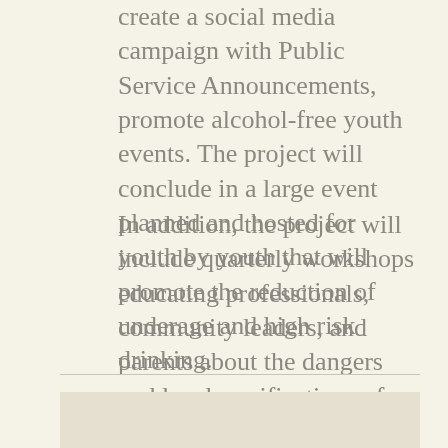create a social media campaign with Public Service Announcements, promote alcohol-free youth events. The project will conclude in a large event planned and hosted for youth by youth that will promote the reduction of underage and high risk drinking.
In addition, the project will include quarterly workshops educating professionals, community leaders, and parents about the dangers and legal ramifications of providing alcohol to youth also known as social providing/social hosting.